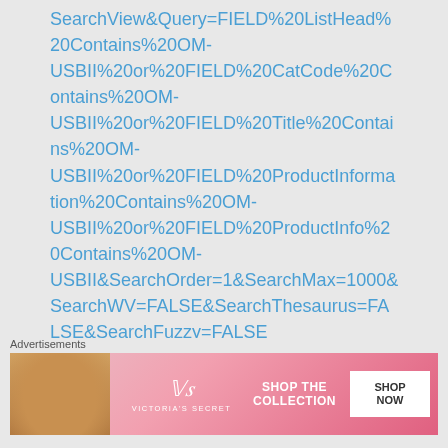SearchView&Query=FIELD%20ListHead%20Contains%20OM-USBII%20or%20FIELD%20CatCode%20Contains%20OM-USBII%20or%20FIELD%20Title%20Contains%20OM-USBII%20or%20FIELD%20ProductInformation%20Contains%20OM-USBII%20or%20FIELD%20ProductInfo%20Contains%20OM-USBII&SearchOrder=1&SearchMax=1000&SearchWV=FALSE&SearchThesaurus=FALSE&SearchFuzzy=FALSE
Advertisements
[Figure (photo): Victoria's Secret advertisement banner with a model on the left, VS logo in the center, and 'SHOP THE COLLECTION / SHOP NOW' button on the right, pink gradient background.]